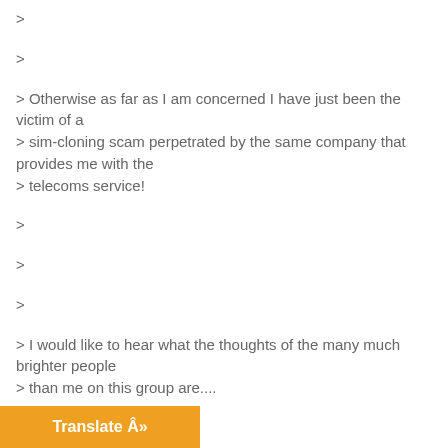> 
> 
> Otherwise as far as I am concerned I have just been the victim of a
> sim-cloning scam perpetrated by the same company that provides me with the
> telecoms service!
> 
> 
> 
> I would like to hear what the thoughts of the many much brighter people
> than me on this group are....
> 
> 
> 
> Best regards,
>
Translate Â»